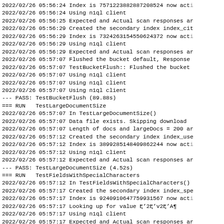2022/02/26 05:56:24 Index is 7571223882887208524 now act
2022/02/26 05:56:24 Using n1ql client
2022/02/26 05:56:25 Expected and Actual scan responses ar
2022/02/26 05:56:29 Created the secondary index index_cit
2022/02/26 05:56:29 Index is 7324263154550624372 now act
2022/02/26 05:56:29 Using n1ql client
2022/02/26 05:56:29 Expected and Actual scan responses ar
2022/02/26 05:57:07 Flushed the bucket default, Response
2022/02/26 05:57:07 TestBucketFlush:: Flushed the bucket
2022/02/26 05:57:07 Using n1ql client
2022/02/26 05:57:07 Using n1ql client
2022/02/26 05:57:07 Using n1ql client
--- PASS: TestBucketFlush (89.88s)
=== RUN   TestLargeDocumentSize
2022/02/26 05:57:07 In TestLargeDocumentSize()
2022/02/26 05:57:07 Data file exists. Skipping download
2022/02/26 05:57:07 Length of docs and largeDocs = 200 ar
2022/02/26 05:57:12 Created the secondary index index_use
2022/02/26 05:57:12 Index is 3899285148409862244 now act
2022/02/26 05:57:12 Using n1ql client
2022/02/26 05:57:12 Expected and Actual scan responses ar
--- PASS: TestLargeDocumentSize (4.52s)
=== RUN   TestFieldsWithSpecialCharacters
2022/02/26 05:57:12 In TestFieldsWithSpecialCharacters()
2022/02/26 05:57:17 Created the secondary index index_spe
2022/02/26 05:57:17 Index is 9240910647759931567 now act
2022/02/26 05:57:17 Looking up for value Ę'2Ę'v2Ę'A¶
2022/02/26 05:57:17 Using n1ql client
2022/02/26 05:57:17 Expected and Actual scan responses ar
--- PASS: TestFieldsWithSpecialCharacters (5.44s)